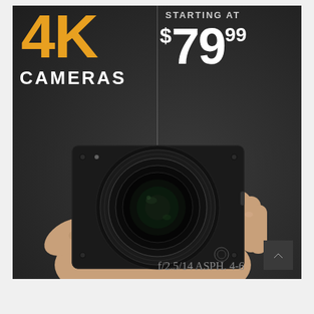[Figure (photo): Advertisement for 4K cameras. Dark background. Left side shows large orange/gold '4K' text with 'CAMERAS' below in white. Right side shows 'STARTING AT' in gray and price '$79.99' in large white text. Center/bottom shows a hand holding a small black 4K camera with a circular lens. A small dark scroll-up button appears at bottom right.]